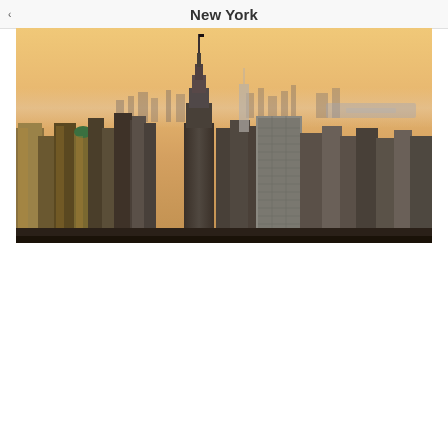New York
[Figure (photo): Aerial panoramic view of New York City skyline featuring the Empire State Building prominently in the center, with surrounding Manhattan skyscrapers, distant water views, and warm golden sunset/sunrise light illuminating the city]